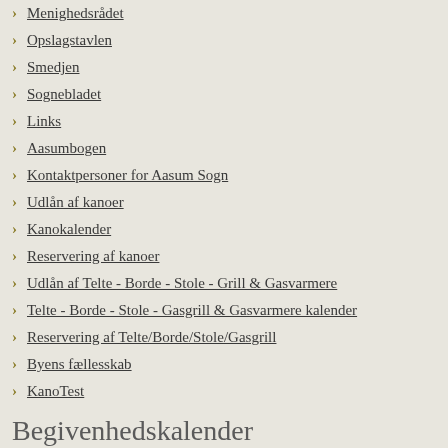Menighedsrådet
Opslagstavlen
Smedjen
Sognebladet
Links
Aasumbogen
Kontaktpersoner for Aasum Sogn
Udlån af kanoer
Kanokalender
Reservering af kanoer
Udlån af Telte - Borde - Stole - Grill & Gasvarmere
Telte - Borde - Stole - Gasgrill & Gasvarmere kalender
Reservering af Telte/Borde/Stole/Gasgrill
Byens fællesskab
KanoTest
Begivenhedskalender